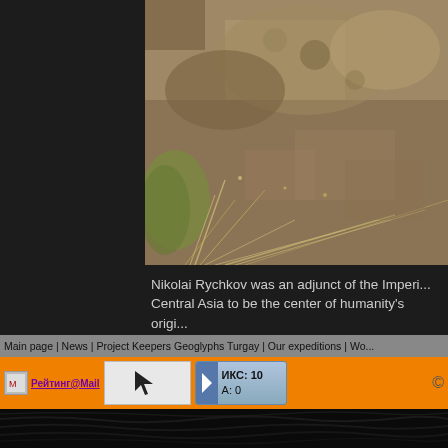[Figure (photo): Close-up photo of dry rocky terrain with sparse dry grass and stones, brownish-tan earthy tones]
Nikolai Rychkov was an adjunct of the Imperi... Central Asia to be the center of humanity's origi...
Main page | News | Project Keepers Geoglyphs Turgay | Our expeditions | Wo...
[Figure (logo): Рейтинг@Mail logo widget]
[Figure (other): Arrow cursor widget (white box with black arrow)]
[Figure (other): ИКС: 10 A: 0 rating widget with blue gradient and arrow icon]